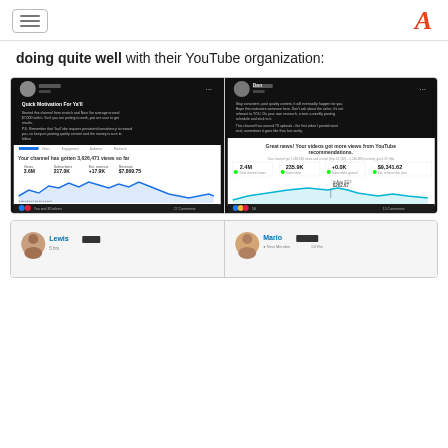Navigation header with hamburger menu and logo
doing quite well with their YouTube organization:
[Figure (screenshot): Facebook post screenshot from 'Al' showing Quick Motivation For Ya'll post about earning $7,000 from a YouTube channel with 3.6M views, stats showing 3.6M views, 217.0K subscribers, +17.9K, $7,869.75 revenue, with a line chart showing views over time. Post has likes and 27 Comments.]
[Figure (screenshot): Facebook post screenshot from 'Dan' about staying consistent and posting quality content, showing YouTube channel stats: 2.4M views, 235.9K subscribers, +0.0K, $9,341.62 revenue, with line chart. Shows 'Great news! Your videos got more views from YouTube recommendations.' with 15 Comments.]
[Figure (screenshot): Partial Facebook post screenshot from 'Lewis' at bottom of page.]
[Figure (screenshot): Partial Facebook post screenshot from 'Mario' - New Member, at bottom of page.]